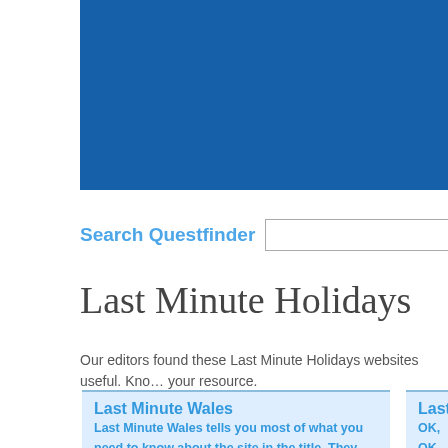[Figure (other): Blue header banner at top of page]
Search Questfinder
Last Minute Holidays
Our editors found these Last Minute Holidays websites useful. Know a better one? Add your resource.
Last Minute Wales
Last Minute Wales tells you most of what you need to know about the site in the title. They have a variety of Welsh holidays and cottage rentals available, with information and online booking. The site also features places to stay, activities, days out, places to visit and lots more about Wales.
Lastm...
OK, OK, Can I hel even hav is THE p type of t